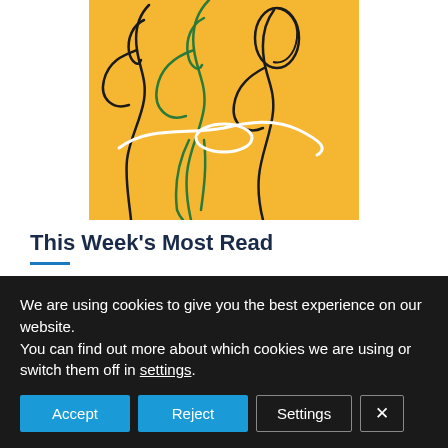[Figure (illustration): Abstract line art illustration on a yellow/amber background depicting stylized human figures in outline form — black and green curved lines forming faces and bodies, with a white elliptical shape in the center.]
This Week's Most Read
US bargain buys during turbulent H... e fund
We are using cookies to give you the best experience on our website.
You can find out more about which cookies we are using or switch them off in settings.